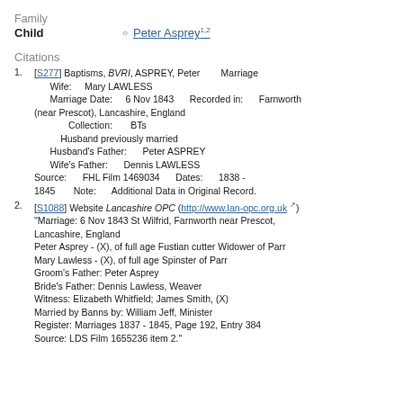Family
Child   Peter Asprey1,2
Citations
1. [S277] Baptisms, BVRI, ASPREY, Peter   Marriage Wife: Mary LAWLESS Marriage Date: 6 Nov 1843 Recorded in: Farnworth (near Prescot), Lancashire, England Collection: BTs Husband previously married Husband's Father: Peter ASPREY Wife's Father: Dennis LAWLESS Source: FHL Film 1469034 Dates: 1838 - 1845 Note: Additional Data in Original Record.
2. [S1088] Website Lancashire OPC (http://www.lan-opc.org.uk) "Marriage: 6 Nov 1843 St Wilfrid, Farnworth near Prescot, Lancashire, England Peter Asprey - (X), of full age Fustian cutter Widower of Parr Mary Lawless - (X), of full age Spinster of Parr Groom's Father: Peter Asprey Bride's Father: Dennis Lawless, Weaver Witness: Elizabeth Whitfield; James Smith, (X) Married by Banns by: William Jeff, Minister Register: Marriages 1837 - 1845, Page 192, Entry 384 Source: LDS Film 1655236 item 2."